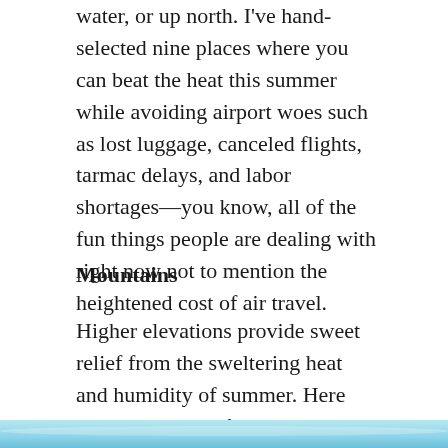water, or up north. I've hand-selected nine places where you can beat the heat this summer while avoiding airport woes such as lost luggage, canceled flights, tarmac delays, and labor shortages—you know, all of the fun things people are dealing with right now not to mention the heightened cost of air travel.
Mountains
Higher elevations provide sweet relief from the sweltering heat and humidity of summer. Here are three wonderful mountainous locales where you can escape the heat.
[Figure (photo): Partial view of a blue water/mountain scene at the bottom of the page]